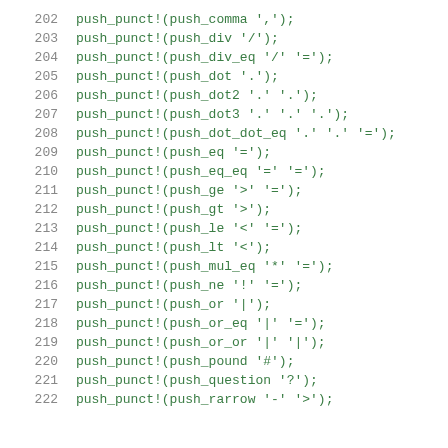[Figure (screenshot): Source code listing showing lines 202-222 of code with push_punct! macro calls in green monospace font on white background. Line numbers shown in grey on the left.]